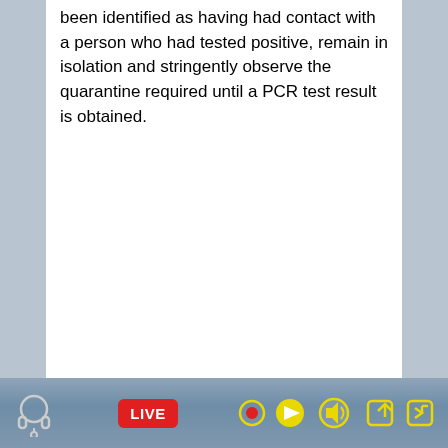been identified as having had contact with a person who had tested positive, remain in isolation and stringently observe the quarantine required until a PCR test result is obtained.
[Figure (screenshot): Video player toolbar with headphone icon on left, LIVE button (red), and media control icons (record, play, volume, share, exit) in yellow on a blue-grey gradient background]